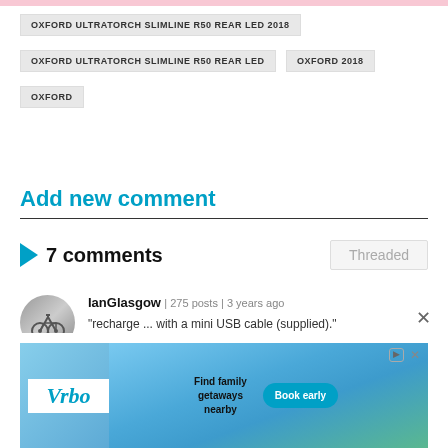OXFORD ULTRATORCH SLIMLINE R50 REAR LED 2018
OXFORD ULTRATORCH SLIMLINE R50 REAR LED
OXFORD 2018
OXFORD
Add new comment
7 comments
IanGlasgow | 275 posts | 3 years ago
"recharge ... with a mini USB cable (supplied)."
I'm hoping it's a micro-USB which has been standa... n ... to ... ini-